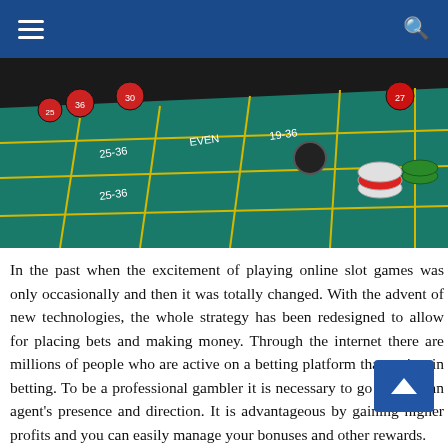Navigation bar with hamburger menu and search icon
[Figure (photo): A roulette/casino table with green felt, yellow grid lines showing betting sections labeled 25-36, EVEN, 19-36, and casino chips (red, white, green) on the table surface.]
In the past when the excitement of playing online slot games was only occasionally and then it was totally changed. With the advent of new technologies, the whole strategy has been redesigned to allow for placing bets and making money. Through the internet there are millions of people who are active on a betting platform that assists in betting. To be a professional gambler it is necessary to go through an agent's presence and direction. It is advantageous by gaining higher profits and you can easily manage your bonuses and other rewards.